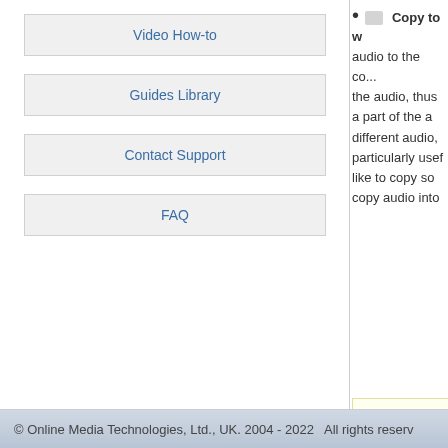Video How-to
Guides Library
Contact Support
FAQ
Copy to ... audio to the co... the audio, thus a part of the a... different audio, particularly usef... like to copy so... copy audio into ...
Note: all t...
[Figure (logo): Orange waveform/audio icon]
Please note that AVS4YOU programs do not allow you to copy protected material. You may us... copyright owner.
AVS4YOU is a registered trademark of Online Media Technologies, Ltd., UK. Intel and Core 2 Du... Devices, Inc. Windows 11/10/8.1/8/7/Vista/XP are registered trademarks of Microsoft Corporation...
By using our services, you agree to our use of cookies.
© Online Media Technologies, Ltd., UK. 2004 - 2022   All rights reserv...